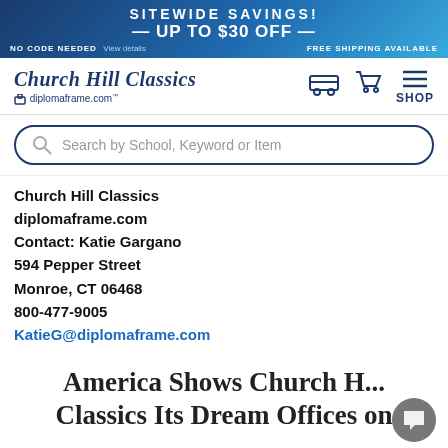SITEWIDE SAVINGS! UP TO $30 OFF — NO CODE NEEDED View details FREE SHIPPING AVAILABLE
[Figure (logo): Church Hill Classics / diplomaframe.com logo with navigation icons (truck, cart, shop menu)]
Search by School, Keyword or Item
Church Hill Classics
diplomaframe.com
Contact: Katie Gargano
594 Pepper Street
Monroe, CT 06468
800-477-9005
KatieG@diplomaframe.com
America Shows Church H... Classics Its Dream Offices on